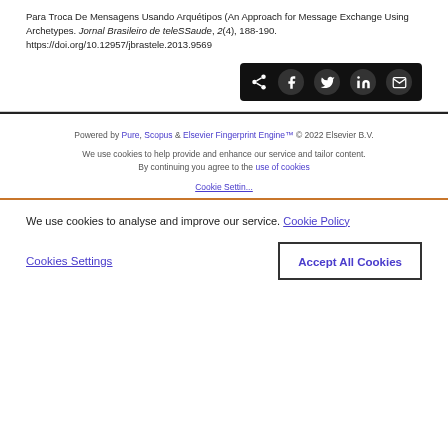Para Troca De Mensagens Usando Arquétipos (An Approach for Message Exchange Using Archetypes. Jornal Brasileiro de teleSSaude, 2(4), 188-190. https://doi.org/10.12957/jbrastele.2013.9569
[Figure (screenshot): Social share bar with icons for share, Facebook, Twitter, LinkedIn, and email on black background]
Powered by Pure, Scopus & Elsevier Fingerprint Engine™ © 2022 Elsevier B.V.
We use cookies to help provide and enhance our service and tailor content. By continuing you agree to the use of cookies
We use cookies to analyse and improve our service. Cookie Policy
Cookies Settings
Accept All Cookies